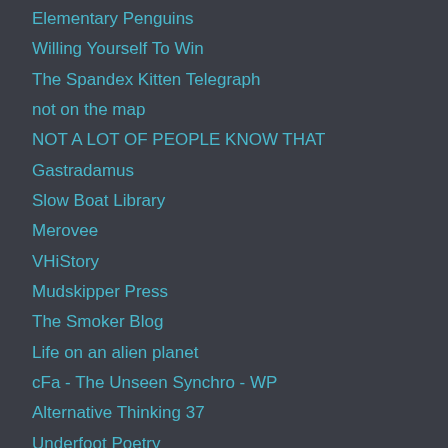Elementary Penguins
Willing Yourself To Win
The Spandex Kitten Telegraph
not on the map
NOT A LOT OF PEOPLE KNOW THAT
Gastradamus
Slow Boat Library
Merovee
VHiStory
Mudskipper Press
The Smoker Blog
Life on an alien planet
cFa - The Unseen Synchro - WP
Alternative Thinking 37
Underfoot Poetry
The world as seen from a Norfolk bedside.
Bolton Smokers Club
thisisvouth